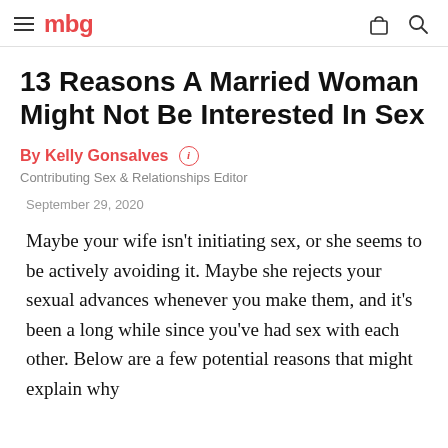mbg
13 Reasons A Married Woman Might Not Be Interested In Sex
By Kelly Gonsalves
Contributing Sex & Relationships Editor
September 29, 2020
Maybe your wife isn't initiating sex, or she seems to be actively avoiding it. Maybe she rejects your sexual advances whenever you make them, and it's been a long while since you've had sex with each other. Below are a few potential reasons that might explain why